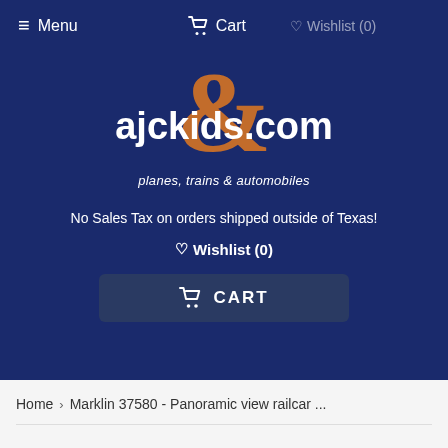☰ Menu   🛒 Cart   ♡ Wishlist (0)
[Figure (logo): ajckids.com logo with large orange ampersand and tagline 'planes, trains & automobiles' on dark navy background]
No Sales Tax on orders shipped outside of Texas!
♡ Wishlist (0)
🛒 CART
Home › Marklin 37580 - Panoramic view railcar ...